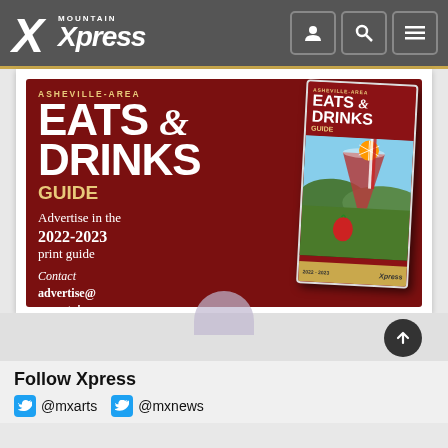Mountain Xpress
[Figure (illustration): Asheville-Area Eats & Drinks Guide advertisement banner with dark red background, showing large white text 'EATS & DRINKS GUIDE', advertising 2022-2023 print guide, with contact email advertise@mountainx.com, and a mini cover of the guide with a cocktail image]
Follow Xpress
@mxarts  @mxnews